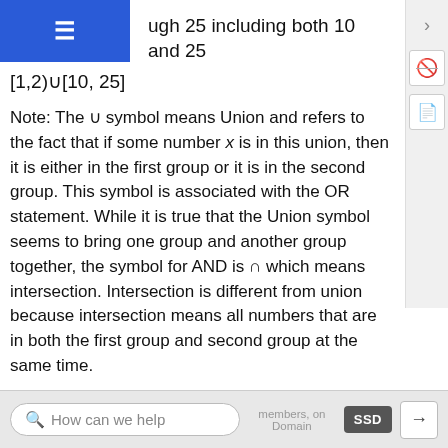ugh 25 including both 10 and 25
Note: The ∪ symbol means Union and refers to the fact that if some number x is in this union, then it is either in the first group or it is in the second group. This symbol is associated with the OR statement. While it is true that the Union symbol seems to bring one group and another group together, the symbol for AND is ∩ which means intersection. Intersection is different from union because intersection means all numbers that are in both the first group and second group at the same time.
Domain and Restricted Domain